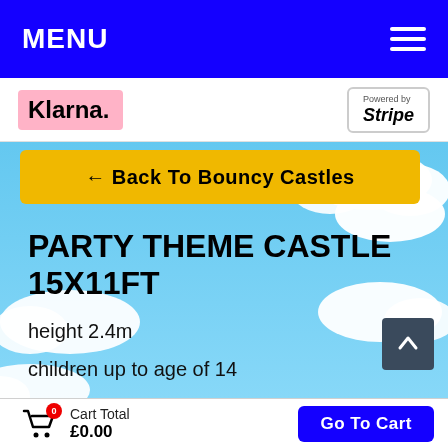MENU
[Figure (screenshot): Klarna and Stripe payment logos on white strip]
← Back To Bouncy Castles
PARTY THEME CASTLE 15X11FT
height 2.4m
children up to age of 14
Cart Total £0.00
Go To Cart